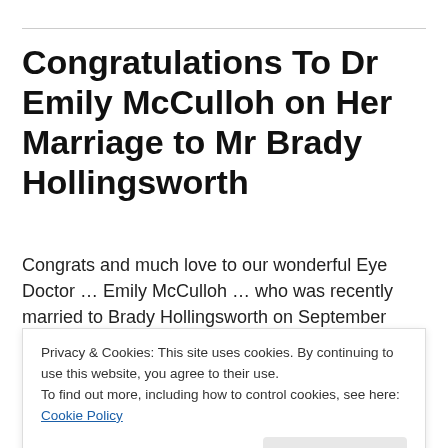Congratulations To Dr Emily McCulloh on Her Marriage to Mr Brady Hollingsworth
Congrats and much love to our wonderful Eye Doctor … Emily McCulloh … who was recently married to Brady Hollingsworth on September 27th!
Dr Tenn (our other awesome Optometrist) and Ralph
Privacy & Cookies: This site uses cookies. By continuing to use this website, you agree to their use.
To find out more, including how to control cookies, see here: Cookie Policy
wedding.  Both  Dr Emily McCulloh and Dr Anna Ray